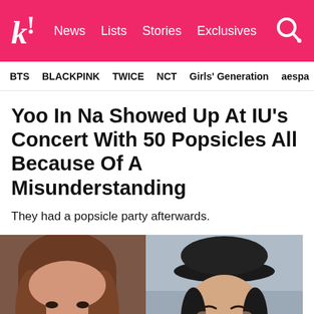k! News  Lists  Stories  Exclusives
BTS  BLACKPINK  TWICE  NCT  Girls' Generation  aespa
Yoo In Na Showed Up At IU's Concert With 50 Popsicles All Because Of A Misunderstanding
They had a popsicle party afterwards.
[Figure (photo): Two side-by-side photos: left shows a young woman with auburn hair looking forward; right shows a young woman in a black cap laughing and covering her mouth with her hand.]